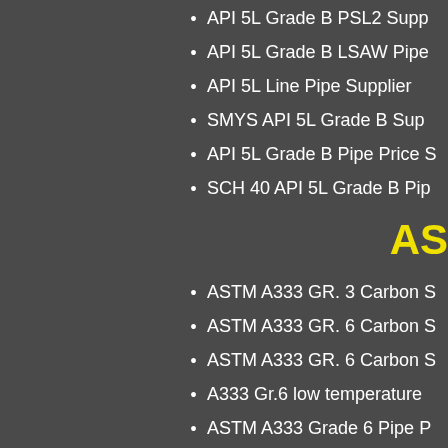API 5L Grade B PSL2 Supp...
API 5L Grade B LSAW Pipe...
API 5L Line Pipe Supplier
SMYS API 5L Grade B Sup...
API 5L Grade B Pipe Price S...
SCH 40 API 5L Grade B Pip...
AS
ASTM A333 GR. 3 Carbon S...
ASTM A333 GR. 6 Carbon S...
ASTM A333 GR. 6 Carbon S...
A333 Gr.6 low temperature ...
ASTM A333 Grade 6 Pipe P...
SCH 40 ASTM A333 Grade ...
ST